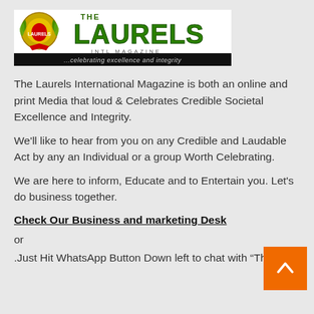[Figure (logo): The Laurels Intl. Magazine logo — gold laurel wreath emblem on left, large green bold 'THE LAURELS' text, 'INTL. MAGAZINE' subtitle, black banner reading '...celebrating excellence and integrity']
The Laurels International Magazine is both an online and print Media that loud & Celebrates Credible Societal Excellence and Integrity.
We'll like to hear from you on any Credible and Laudable Act by any an Individual or a group Worth Celebrating.
We are here to inform, Educate and to Entertain you. Let's do business together.
Check Our Business and marketing Desk
or
.Just Hit WhatsApp Button Down left to chat with “The